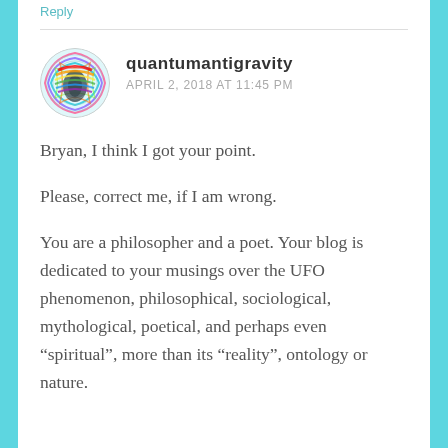Reply
[Figure (photo): Circular avatar image with colorful swirling rainbow pattern for user quantumantigravity]
quantumantigravity
APRIL 2, 2018 AT 11:45 PM
Bryan, I think I got your point.
Please, correct me, if I am wrong.
You are a philosopher and a poet. Your blog is dedicated to your musings over the UFO phenomenon, philosophical, sociological, mythological, poetical, and perhaps even “spiritual”, more than its “reality”, ontology or nature.